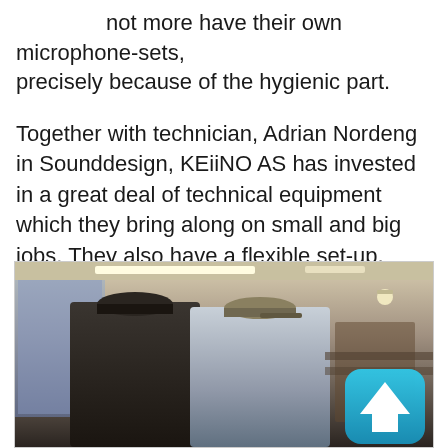not more have their own microphone-sets, precisely because of the hygienic part.
Together with technician, Adrian Nordeng in Sounddesign, KEiiNO AS has invested in a great deal of technical equipment which they bring along on small and big jobs. They also have a flexible set-up, where drummer and guitarist are with them on larger jobs. They use and Allen & Heath dLive-mixer.
[Figure (photo): Two men standing indoors, one wearing a dark cap and dark shirt (left), the other wearing a light cap and light shirt (right). Interior setting with large windows and ceiling lights visible. A teal/cyan up-arrow button icon overlaid in the bottom-right corner.]